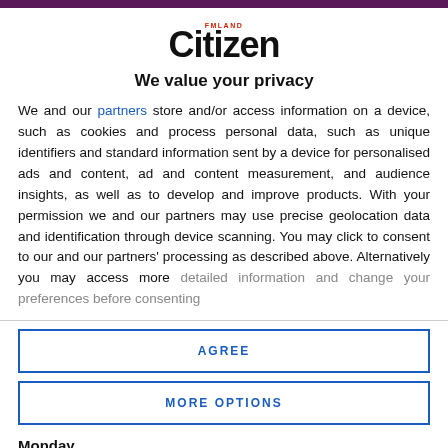[Figure (logo): Fmland Citizen newspaper logo]
We value your privacy
We and our partners store and/or access information on a device, such as cookies and process personal data, such as unique identifiers and standard information sent by a device for personalised ads and content, ad and content measurement, and audience insights, as well as to develop and improve products. With your permission we and our partners may use precise geolocation data and identification through device scanning. You may click to consent to our and our partners' processing as described above. Alternatively you may access more detailed information and change your preferences before consenting
AGREE
MORE OPTIONS
Monday.